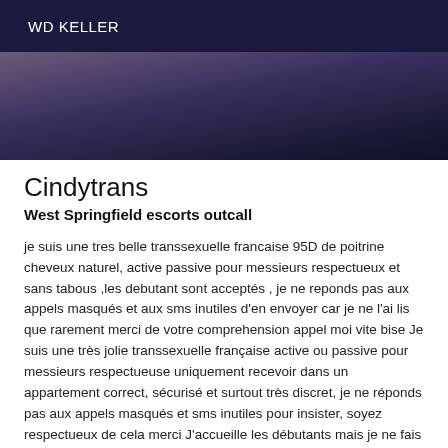WD KELLER
[Figure (photo): Dark blurred photo, dark navy and purple tones]
Cindytrans
West Springfield escorts outcall
je suis une tres belle transsexuelle francaise 95D de poitrine cheveux naturel, active passive pour messieurs respectueux et sans tabous ,les debutant sont acceptés , je ne reponds pas aux appels masqués et aux sms inutiles d'en envoyer car je ne l'ai lis que rarement merci de votre comprehension appel moi vite bise Je suis une très jolie transsexuelle française active ou passive pour messieurs respectueuse uniquement recevoir dans un appartement correct, sécurisé et surtout très discret, je ne réponds pas aux appels masqués et sms inutiles pour insister, soyez respectueux de cela merci J'accueille les débutants mais je ne fais pas de prix car